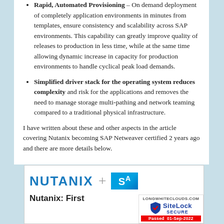Rapid, Automated Provisioning – On demand deployment of completely application environments in minutes from templates, ensure consistency and scalability across SAP environments. This capability can greatly improve quality of releases to production in less time, while at the same time allowing dynamic increase in capacity for production environments to handle cyclical peak load demands.
Simplified driver stack for the operating system reduces complexity and risk for the applications and removes the need to manage storage multi-pathing and network teaming compared to a traditional physical infrastructure.
I have written about these and other aspects in the article covering Nutanix becoming SAP Netweaver certified 2 years ago and there are more details below.
[Figure (logo): A box containing the Nutanix logo (blue text) plus a plus sign and a partial SAP logo (blue box with white text), and the heading 'Nutanix: First' below, with a SiteLock Secure badge overlay in the bottom right.]